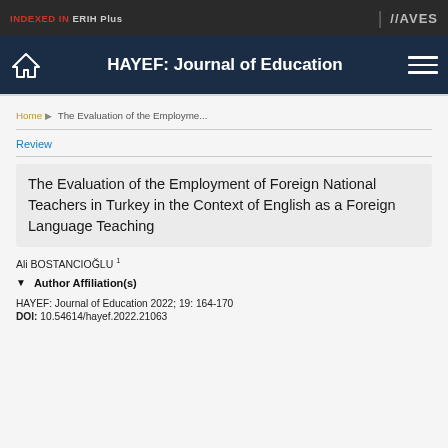INDEXED IN ERIH Plus | AVES
HAYEF: Journal of Education
Home ▶ The Evaluation of the Employme...
Review
The Evaluation of the Employment of Foreign National Teachers in Turkey in the Context of English as a Foreign Language Teaching
Ali BOSTANCIOĞLU ¹
Author Affiliation(s)
HAYEF: Journal of Education 2022; 19: 164-170
DOI: 10.54614/hayef.2022.21063